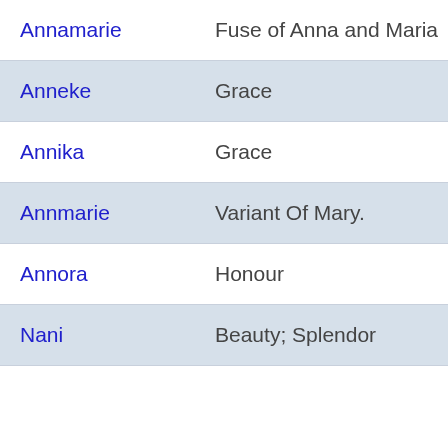| Name | Meaning |
| --- | --- |
| Annamarie | Fuse of Anna and Maria |
| Anneke | Grace |
| Annika | Grace |
| Annmarie | Variant Of Mary. |
| Annora | Honour |
| Nani | Beauty; Splendor |